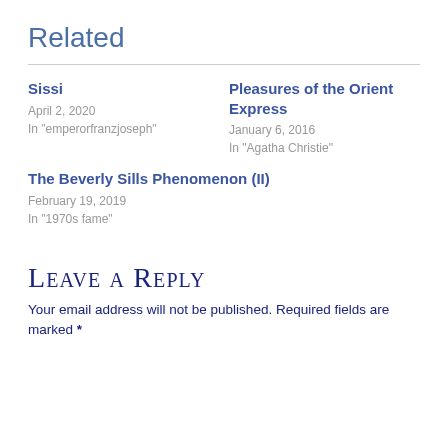Related
Sissi
April 2, 2020
In "emperorfranzjoseph"
Pleasures of the Orient Express
January 6, 2016
In "Agatha Christie"
The Beverly Sills Phenomenon (II)
February 19, 2019
In "1970s fame"
Leave a Reply
Your email address will not be published. Required fields are marked *